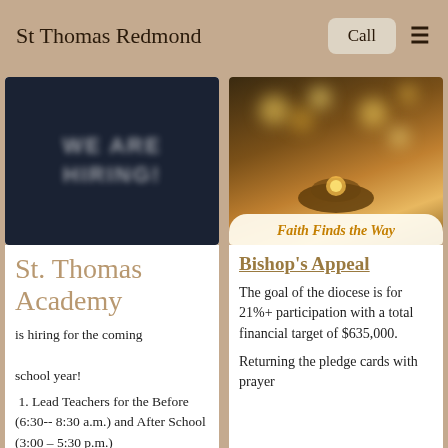St Thomas Redmond
[Figure (screenshot): Blurred image with text 'WE ARE HIRING!' on dark background]
St. Thomas Academy
is hiring for the coming school year!
1. Lead Teachers for the Before (6:30-- 8:30 a.m.) and After School (3:00 – 5:30 p.m.)
[Figure (photo): Hands holding glowing bokeh lights with 'Faith Finds the Way' overlay text]
Bishop's Appeal
The goal of the diocese is for 21%+ participation with a total financial target of $635,000.
Returning the pledge cards with prayer